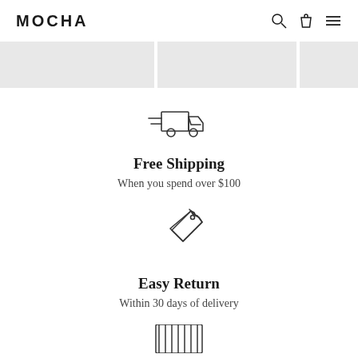MOCHA
[Figure (illustration): Delivery truck icon with speed lines]
Free Shipping
When you spend over $100
[Figure (illustration): Price tag icon]
Easy Return
Within 30 days of delivery
[Figure (illustration): Shirt/fabric icon at bottom]